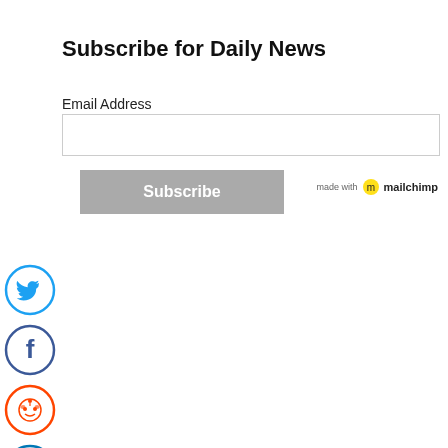Subscribe for Daily News
Email Address
[Figure (screenshot): Email input field (empty text box)]
[Figure (screenshot): Subscribe button (grey)]
[Figure (logo): Made with Mailchimp badge]
[Figure (logo): Twitter social icon circle (blue)]
[Figure (logo): Facebook social icon circle (blue)]
[Figure (logo): Reddit social icon circle (orange)]
[Figure (logo): LinkedIn social icon circle (blue)]
[Figure (logo): Back/left arrow circle (grey)]
[Figure (infographic): Follow CoinRegWatch on Google News banner with coloured text and Google News icon]